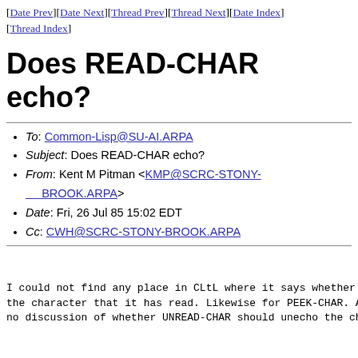[Date Prev][Date Next][Thread Prev][Thread Next][Date Index][Thread Index]
Does READ-CHAR echo?
To: Common-Lisp@SU-AI.ARPA
Subject: Does READ-CHAR echo?
From: Kent M Pitman <KMP@SCRC-STONY-BROOK.ARPA>
Date: Fri, 26 Jul 85 15:02 EDT
Cc: CWH@SCRC-STONY-BROOK.ARPA
I could not find any place in CLtL where it says whether
the character that it has read. Likewise for PEEK-CHAR. A
no discussion of whether UNREAD-CHAR should unecho the ch
I note that Symbolics Common Lisp has (somewhat arbitrari
decided that READ-CHAR echos, PEEK-CHAR does not echo, an
does not un-echo the character. This has the odd effect f
(PROGN (PEEK-CHAR) (UNREAD-CHAR (READ-CHAR)) (READ-CHAR)
echos the character twice. I imagine it will be a real h